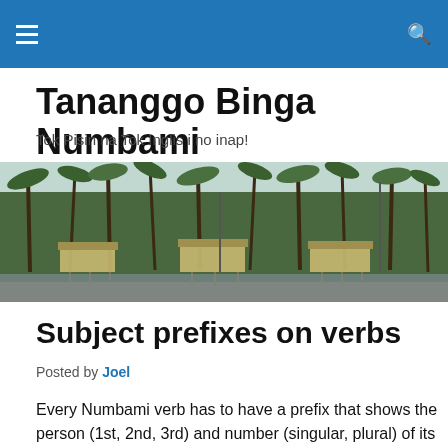≡  🔍
Tananggo Binga Numbami
Tok Pisin na Tok Inglis i no inap!
[Figure (photo): Coastal village scene with palm trees and stilt houses along a waterfront, vintage photograph]
Subject prefixes on verbs
Posted by Joel
Every Numbami verb has to have a prefix that shows the person (1st, 2nd, 3rd) and number (singular, plural) of its